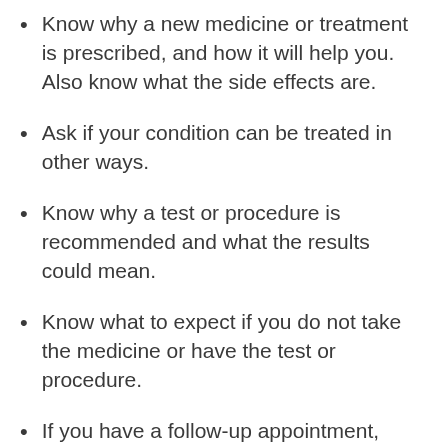Know why a new medicine or treatment is prescribed, and how it will help you. Also know what the side effects are.
Ask if your condition can be treated in other ways.
Know why a test or procedure is recommended and what the results could mean.
Know what to expect if you do not take the medicine or have the test or procedure.
If you have a follow-up appointment, write down the date, time, and purpose for that